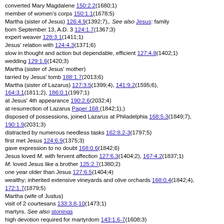converted Mary Magdalene 150:2.2(1680;1)
member of women's corps 150:1.1(1678;5)
Martha (sister of Jesus) 126:4.9(1392;7),. See also Jesus: family
born September 13, A.D. 3 124:1.7(1367;3)
expert weaver 128:3.1(1411;1)
Jesus' relation with 124:4.3(1371;6)
slow in thought and action but dependable, efficient 127:4.8(1402;1)
wedding 129:1.6(1420;3)
Martha (sister of Jesus' mother)
tarried by Jesus' tomb 188:1.7(2013;6)
Martha (sister of Lazarus) 127:3.5(1399;4), 141:9.2(1595;6), 164:3.1(1811;2), 186:0.1(1997;1)
at Jesus' 4th appearance 190:2.6(2032;4)
at resurrection of Lazarus Paper 168 (1842;1),)
disposed of possessions, joined Lazarus at Philadelphia 168:5.3(1849;7), 190:1.9(2031;3)
distracted by numerous needless tasks 162:8.2-3(1797;5)
first met Jesus 124:6.9(1375;3)
gave expression to no doubt 168:0.6(1842;6)
Jesus loved M. with fervent affection 127:6.3(1404;2), 167:4.2(1837;1)
M. loved Jesus like a brother 125:2.7(1380;2)
one year older than Jesus 127:6.5(1404;4)
wealthy; inherited extensive vineyards and olive orchards 168:0.4(1842;4), 172:1.7(1879;5)
Martha (wife of Justus)
visit of 2 courtesans 133:3.8-10(1473;1)
martyrs. See also stonings
high devotion required for martyrdom 143:1.6-7(1608;3)